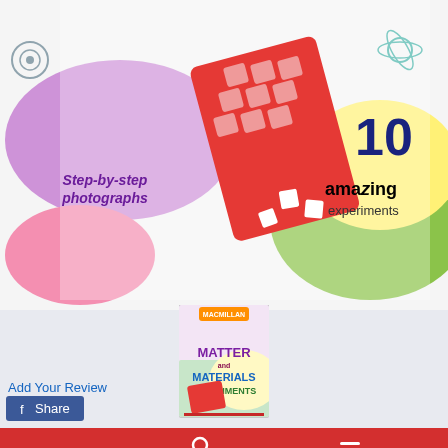[Figure (photo): Book cover of 'Matter and Materials Experiments' from Super Science Experiments series, showing step-by-step photographs, a red ice cube tray, colorful splatter graphics, and '10 amazing experiments' text]
[Figure (photo): Thumbnail image of the same book cover - Matter and Materials Experiments]
Super Science Exp - Matter & Ma
Add Your Review
[Figure (screenshot): Share button (Facebook) and bottom navigation bar with user icon and menu icon on red background]